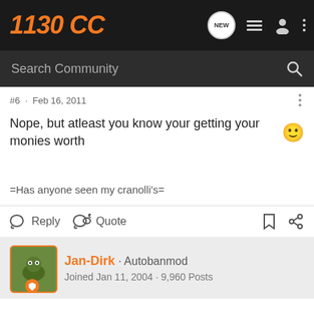1130 CC
Search Community
#6 · Feb 16, 2011
Nope, but atleast you know your getting your monies worth 🙂
=Has anyone seen my cranolli's=
Reply   Quote
Jan-Dirk · Autobanmod
Joined Jan 11, 2004 · 9,960 Posts